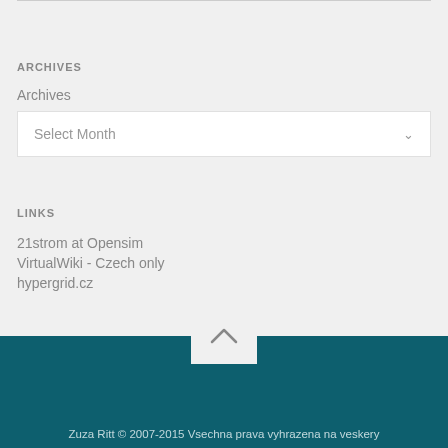ARCHIVES
Archives
Select Month
LINKS
21strom at Opensim
VirtualWiki - Czech only
hypergrid.cz
Zuza Ritt © 2007-2015 Vsechna prava vyhrazena na veskery